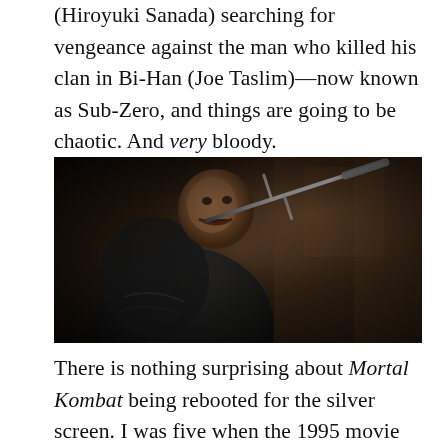(Hiroyuki Sanada) searching for vengeance against the man who killed his clan in Bi-Han (Joe Taslim)—now known as Sub-Zero, and things are going to be chaotic. And very bloody.
[Figure (photo): A dark, moody film still from Mortal Kombat showing a warrior character in dark armor holding a sai weapon up to their face, mouth open, with dramatic lighting against a rocky dark background.]
There is nothing surprising about Mortal Kombat being rebooted for the silver screen. I was five when the 1995 movie came out, with my first memories of it being one of the trailers on the Dumb and Dumber VHS (National Lampoon's Senior Trip, too). The...